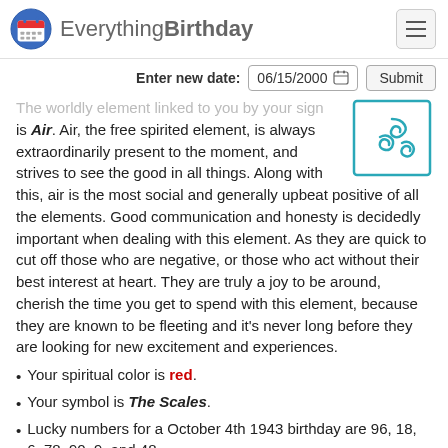EverythingBirthday
Enter new date: 06/15/2000  Submit
The worldly element linked to you by your sign is Air. Air, the free spirited element, is always extraordinarily present to the moment, and strives to see the good in all things. Along with this, air is the most social and generally upbeat positive of all the elements. Good communication and honesty is decidedly important when dealing with this element. As they are quick to cut off those who are negative, or those who act without their best interest at heart. They are truly a joy to be around, cherish the time you get to spend with this element, because they are known to be fleeting and it's never long before they are looking for new excitement and experiences.
Your spiritual color is red.
Your symbol is The Scales.
Lucky numbers for a October 4th 1943 birthday are 96, 18, 6, 78, 90, 9, and 48
But that's not all!